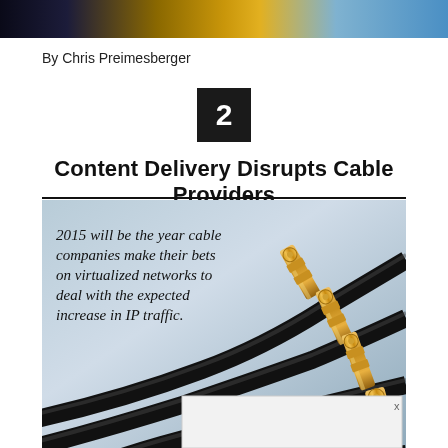By Chris Preimesberger
2
Content Delivery Disrupts Cable Providers
[Figure (photo): Photo of multiple coaxial cable connectors with gold SMA connectors against a light blue-gray gradient background, with overlaid text reading '2015 will be the year cable companies make their bets on virtualized networks to deal with the expected increase in IP traffic.']